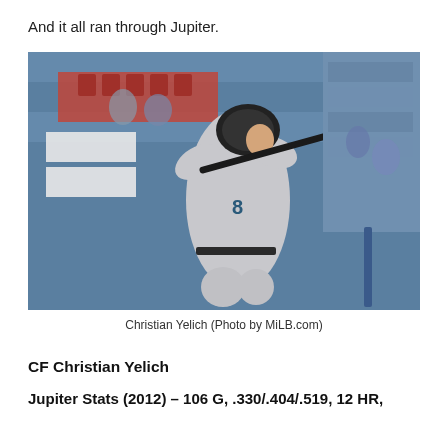And it all ran through Jupiter.
[Figure (photo): Christian Yelich in a baseball uniform wearing a batting helmet, mid-swing with a bat, in a minor league baseball stadium setting. He is wearing a gray uniform with the number 8.]
Christian Yelich (Photo by MiLB.com)
CF Christian Yelich
Jupiter Stats (2012) – 106 G, .330/.404/.519, 12 HR,